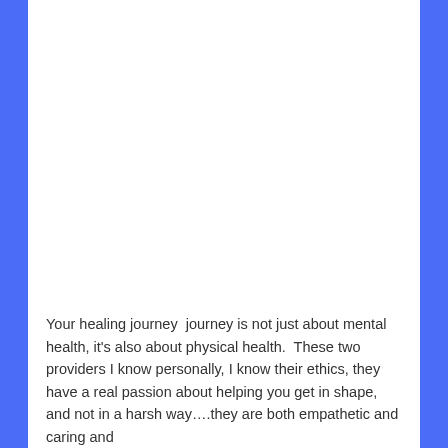Your healing journey  journey is not just about mental health, it's also about physical health.  These two providers I know personally, I know their ethics, they have a real passion about helping you get in shape, and not in a harsh way….they are both empathetic and caring and